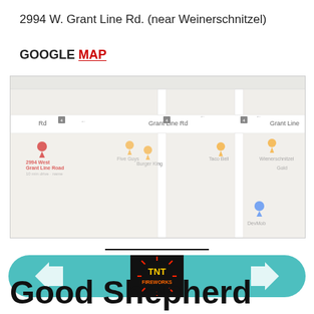2994 W. Grant Line Rd. (near Weinerschnitzel)
GOOGLE MAP
[Figure (map): Google Maps screenshot showing Grant Line Rd area with pins for 2994 West Grant Line Road, Five Guys, Burger King, Taco Bell, Wienerschnitzel, and DevMob]
[Figure (infographic): Teal pill-shaped banner with two white down-arrows and a TNT Fireworks logo in the center on a black background]
Good Shepherd